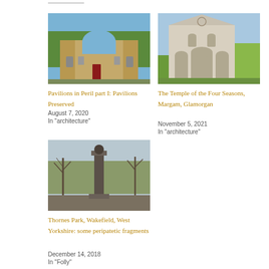[Figure (photo): Ruins of a stone building with arched openings, trees behind, red door visible]
Pavilions in Peril part I: Pavilions Preserved
August 7, 2020
In "architecture"
[Figure (photo): Stone classical temple facade with arched windows and yellow trees behind]
The Temple of the Four Seasons, Margam, Glamorgan
November 5, 2021
In "architecture"
[Figure (photo): Park scene with ornamental column or monument, bare trees in autumn]
Thornes Park, Wakefield, West Yorkshire: some peripatetic fragments
December 14, 2018
In "Folly"